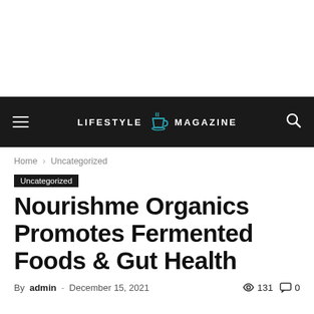LIFESTYLE MAGAZINE
Home › Uncategorized
Uncategorized
Nourishme Organics Promotes Fermented Foods & Gut Health
By admin - December 15, 2021   131   0